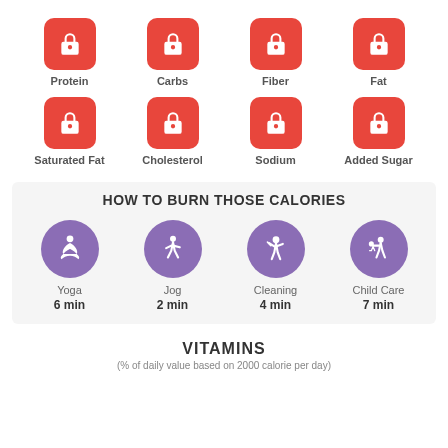[Figure (infographic): Grid of 8 red rounded square icons each showing a padlock symbol with labels: Protein, Carbs, Fiber, Fat, Saturated Fat, Cholesterol, Sodium, Added Sugar]
HOW TO BURN THOSE CALORIES
[Figure (infographic): Four purple circles with activity icons: Yoga 6 min, Jog 2 min, Cleaning 4 min, Child Care 7 min]
VITAMINS
(% of daily value based on 2000 calorie per day)